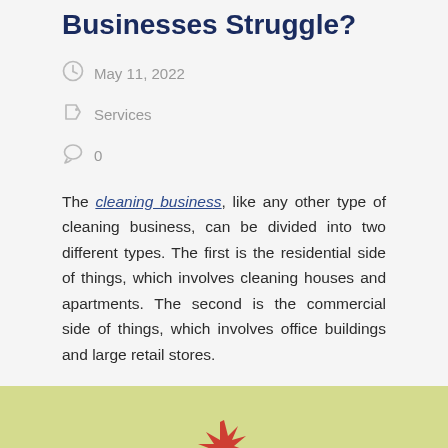Businesses Struggle?
May 11, 2022
Services
0
The cleaning business, like any other type of cleaning business, can be divided into two different types. The first is the residential side of things, which involves cleaning houses and apartments. The second is the commercial side of things, which involves office buildings and large retail stores.
Continue Reading →
[Figure (illustration): Bottom section showing a yellow-green background with a partial illustration visible at the bottom of the page]